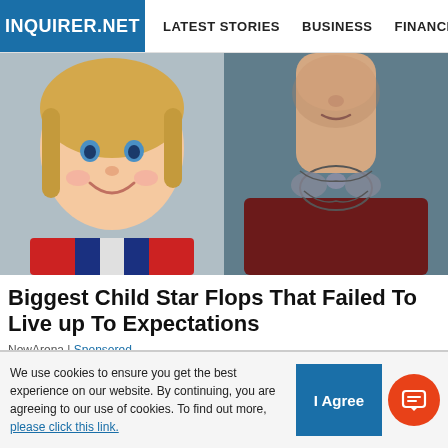INQUIRER.NET | LATEST STORIES | BUSINESS | FINANCE | TECHNOLO
[Figure (photo): Split image: left side shows a smiling young blonde child in a red and blue jacket; right side shows a tattooed man from the neck down wearing a dark red shirt with butterfly neck tattoo]
Biggest Child Star Flops That Failed To Live up To Expectations
NewArena | Sponsored
[Figure (photo): Partial image of a blonde person photographed from behind, blurred background]
We use cookies to ensure you get the best experience on our website. By continuing, you are agreeing to our use of cookies. To find out more, please click this link.